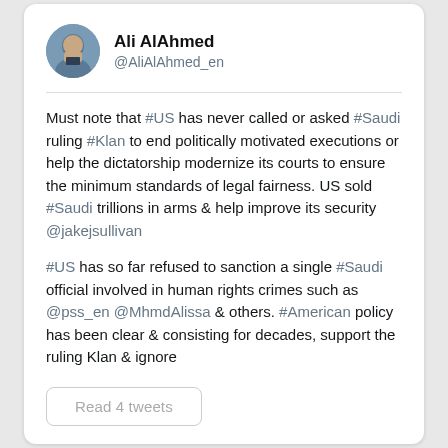Ali AlAhmed @AliAlAhmed_en
Must note that #US has never called or asked #Saudi ruling #Klan to end politically motivated executions or help the dictatorship modernize its courts to ensure the minimum standards of legal fairness. US sold #Saudi trillions in arms & help improve its security @jakejsullivan
#US has so far refused to sanction a single #Saudi official involved in human rights crimes such as @pss_en @MhmdAlissa & others. #American policy has been clear & consisting for decades, support the ruling Klan & ignore
Read 4 tweets